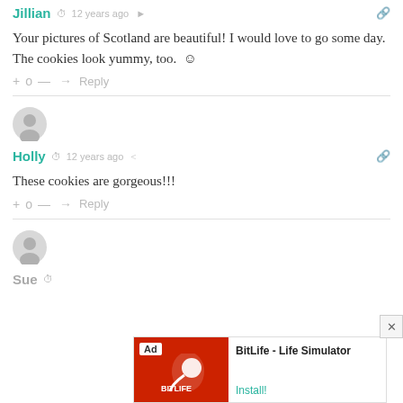Jillian  12 years ago
Your pictures of Scotland are beautiful! I would love to go some day. The cookies look yummy, too. 🙂
+ 0 — → Reply
Holly  12 years ago
These cookies are gorgeous!!!
+ 0 — → Reply
Sue
[Figure (screenshot): Advertisement overlay: BitLife - Life Simulator app ad with red background on left, install button on right]